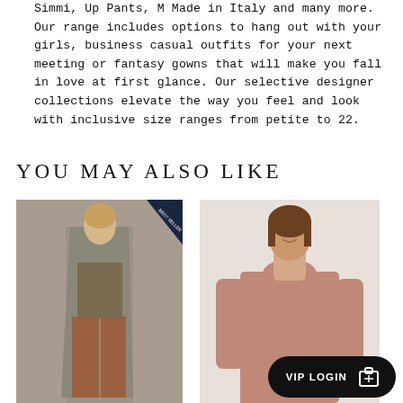Simmi, Up Pants, M Made in Italy and many more. Our range includes options to hang out with your girls, business casual outfits for your next meeting or fantasy gowns that will make you fall in love at first glance. Our selective designer collections elevate the way you feel and look with inclusive size ranges from petite to 22.
YOU MAY ALSO LIKE
[Figure (photo): Woman wearing a grey cardigan with floral top and brown wide-leg trousers, with a Best Seller badge in the top corner]
[Figure (photo): Woman wearing a pink/mauve cowl-neck long sleeve sweater]
VIP LOGIN